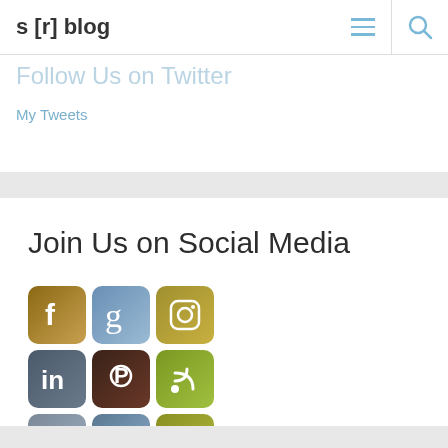s [r] blog
Follow Us on Twitter
My Tweets
Join Us on Social Media
[Figure (infographic): 3x3 grid of social media app icons: Facebook, Goodreads, Instagram (row 1); LinkedIn, Pinterest, RSS (row 2); Tumblr, Twitter, Video/Play (row 3). Icons have painted/artistic background textures.]